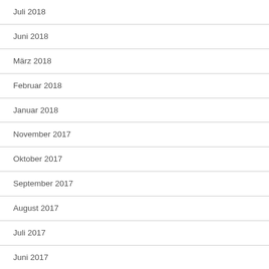Juli 2018
Juni 2018
März 2018
Februar 2018
Januar 2018
November 2017
Oktober 2017
September 2017
August 2017
Juli 2017
Juni 2017
Mai 2017
April 2017